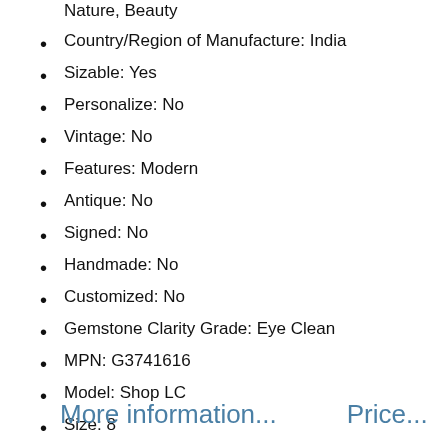Nature, Beauty
Country/Region of Manufacture: India
Sizable: Yes
Personalize: No
Vintage: No
Features: Modern
Antique: No
Signed: No
Handmade: No
Customized: No
Gemstone Clarity Grade: Eye Clean
MPN: G3741616
Model: Shop LC
Size: 8
More information...    Price...